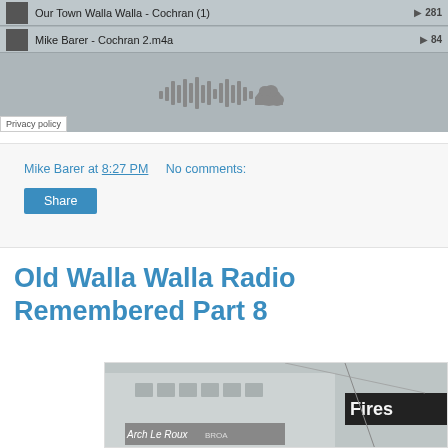[Figure (screenshot): SoundCloud embedded player showing two tracks: 'Our Town Walla Walla - Cochran (1)' with 281 plays, and 'Mike Barer - Cochran 2.m4a' with 84 plays. A waveform and SoundCloud logo are visible. A 'Privacy policy' label appears at the bottom left.]
Mike Barer at 8:27 PM    No comments:
Share
Old Walla Walla Radio Remembered Part 8
[Figure (photo): Black and white photograph of a building exterior with signs reading 'Arch Le Roux' and 'Fires' (partially visible). Street signs and power lines also visible.]